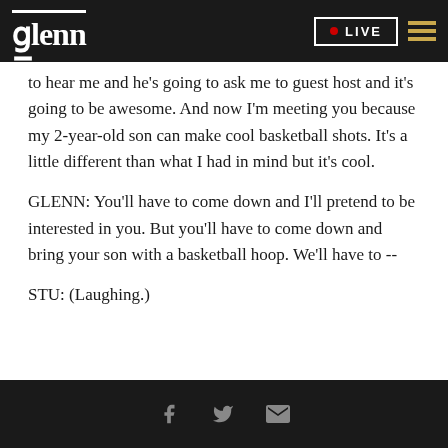glenn | LIVE
to hear me and he's going to ask me to guest host and it's going to be awesome. And now I'm meeting you because my 2-year-old son can make cool basketball shots. It's a little different than what I had in mind but it's cool.
GLENN: You'll have to come down and I'll pretend to be interested in you. But you'll have to come down and bring your son with a basketball hoop. We'll have to --
STU: (Laughing.)
[Facebook] [Twitter] [Email]